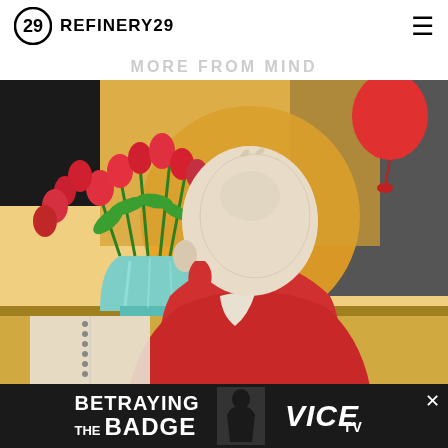REFINERY29
MORE FROM MIND
[Figure (illustration): Illustration of an elderly bald person viewed from behind, wearing a red top, sitting at a table with a vase of red tulips. A red balloon is visible in the upper right. The background has warm yellow and orange tones with dark areas.]
[Figure (other): Advertisement banner: BETRAYING THE BADGE on VICE TV, dark background with a silhouetted figure]